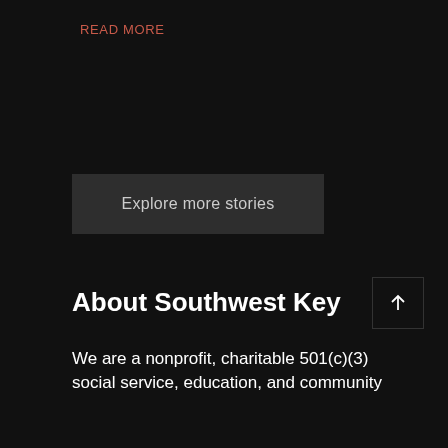READ MORE
Explore more stories
About Southwest Key
We are a nonprofit, charitable 501(c)(3) social service, education, and community